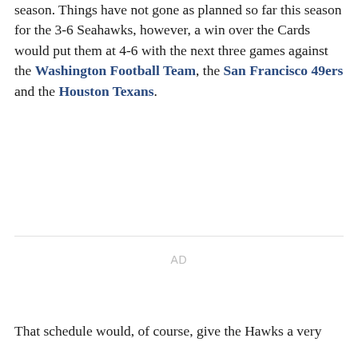season. Things have not gone as planned so far this season for the 3-6 Seahawks, however, a win over the Cards would put them at 4-6 with the next three games against the Washington Football Team, the San Francisco 49ers and the Houston Texans.
[Figure (other): Advertisement placeholder showing 'AD' text centered in a blank space]
That schedule would, of course, give the Hawks a very